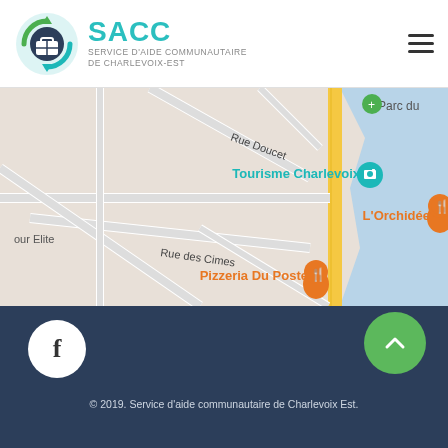[Figure (logo): SACC - Service d'aide communautaire de Charlevoix-Est logo with green circular arrows and briefcase icon]
[Figure (map): Google Maps screenshot showing Baie-Saint-Paul area with streets Rue Doucet, Rue des Cimes, locations Tourisme Charlevoix, L'Orchidée, Pizzeria Du Poste, Tour Elite, Parc du]
© 2019. Service d'aide communautaire de Charlevoix Est.